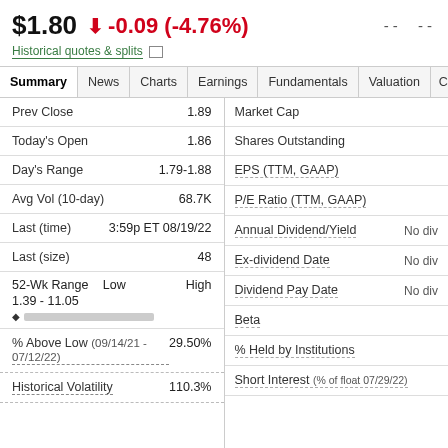$1.80
-0.09 (-4.76%)
Historical quotes & splits
| Summary | News | Charts | Earnings | Fundamentals | Valuation | C |
| --- | --- | --- | --- | --- | --- | --- |
| Label | Value |
| --- | --- |
| Prev Close | 1.89 |
| Today's Open | 1.86 |
| Day's Range | 1.79-1.88 |
| Avg Vol (10-day) | 68.7K |
| Last (time) | 3:59p ET 08/19/22 |
| Last (size) | 48 |
| 52-Wk Range 1.39 - 11.05 | Low / High |
| % Above Low (09/14/21 - 07/12/22) | 29.50% |
| Historical Volatility | 110.3% |
| Label | Value |
| --- | --- |
| Market Cap |  |
| Shares Outstanding |  |
| EPS (TTM, GAAP) |  |
| P/E Ratio (TTM, GAAP) |  |
| Annual Dividend/Yield | No div |
| Ex-dividend Date | No div |
| Dividend Pay Date | No div |
| Beta |  |
| % Held by Institutions |  |
| Short Interest (% of float 07/29/22) |  |